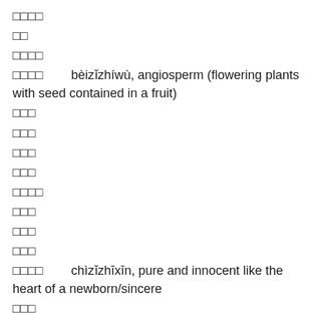□□□□
□□
□□□□
□□□□        bèizǐzhíwù, angiosperm (flowering plants with seed contained in a fruit)
□□□
□□□
□□□
□□□
□□□□
□□□
□□□
□□□
□□□□        chìzǐzhīxīn, pure and innocent like the heart of a newborn/sincere
□□□
□□□